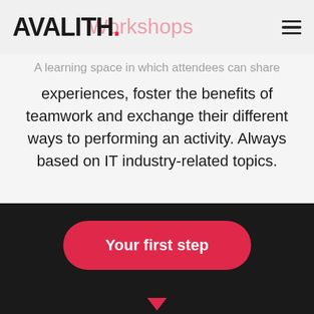AVALITH. Workshops
A learning space in which attendees can share experiences, foster the benefits of teamwork and exchange their different ways to performing an activity. Always based on IT industry-related topics.
Your first step